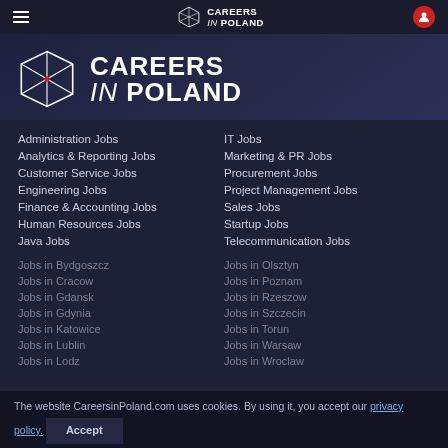CAREERS in POLAND
[Figure (logo): Careers in Poland logo with geometric diamond/polygon shape and bold text CAREERS in POLAND]
Administration Jobs
Analytics & Reporting Jobs
Customer Service Jobs
Engineering Jobs
Finance & Accounting Jobs
Human Resources Jobs
Java Jobs
IT Jobs
Marketing & PR Jobs
Procurement Jobs
Project Management Jobs
Sales Jobs
Startup Jobs
Telecommunication Jobs
Jobs in Bydgoszcz
Jobs in Cracow
Jobs in Gdansk
Jobs in Gdynia
Jobs in Katowice
Jobs in Lublin
Jobs in Lodz
Jobs in Olsztyn
Jobs in Poznam
Jobs in Rzeszow
Jobs in Szczecin
Jobs in Torun
Jobs in Warsaw
Jobs in Wroclaw
The website CareersinPoland.com uses cookies. By using it, you accept our privacy policy.